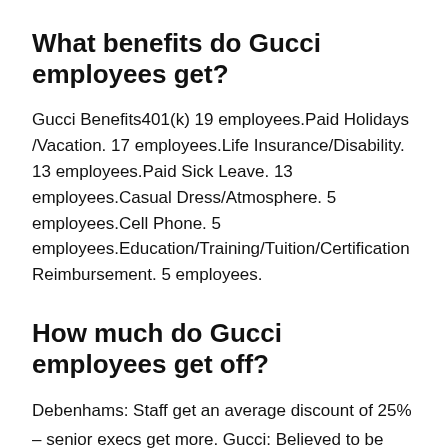What benefits do Gucci employees get?
Gucci Benefits401(k) 19 employees.Paid Holidays/Vacation. 17 employees.Life Insurance/Disability. 13 employees.Paid Sick Leave. 13 employees.Casual Dress/Atmosphere. 5 employees.Cell Phone. 5 employees.Education/Training/Tuition/Certification Reimbursement. 5 employees.
How much do Gucci employees get off?
Debenhams: Staff get an average discount of 25% – senior execs get more. Gucci: Believed to be